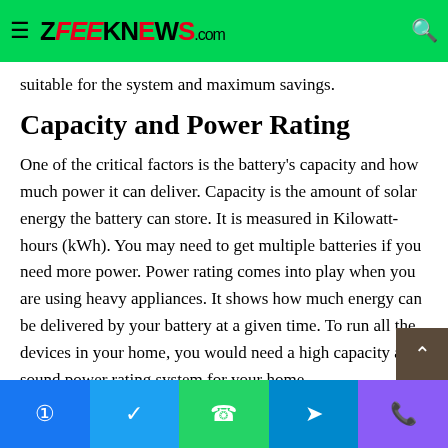ZFEKnews.com
suitable for the system and maximum savings.
Capacity and Power Rating
One of the critical factors is the battery's capacity and how much power it can deliver. Capacity is the amount of solar energy the battery can store. It is measured in Kilowatt-hours (kWh). You may need to get multiple batteries if you need more power. Power rating comes into play when you are using heavy appliances. It shows how much energy can be delivered by your battery at a given time. To run all the devices in your home, you would need a high capacity and sound power rating system for your home.
Facebook Twitter WhatsApp Telegram Phone